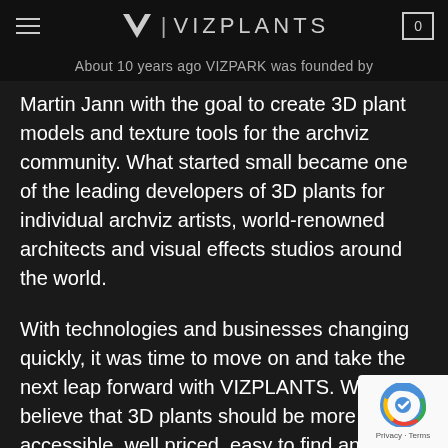VIZPLANTS
About 10 years ago VIZPARK was founded by
Martin Jann with the goal to create 3D plant models and texture tools for the archviz community. What started small became one of the leading developers of 3D plants for individual archviz artists, world-renowned architects and visual effects studios around the world.
With technologies and businesses changing quickly, it was time to move on and take the next leap forward with VIZPLANTS. We believe that 3D plants should be more accessible, well priced, easy to find and simple to use.
That´s why VIZPLANTS is the first online catalog specifically tailored to 3D plants and vegetation with dedicated options to filter and search 3D